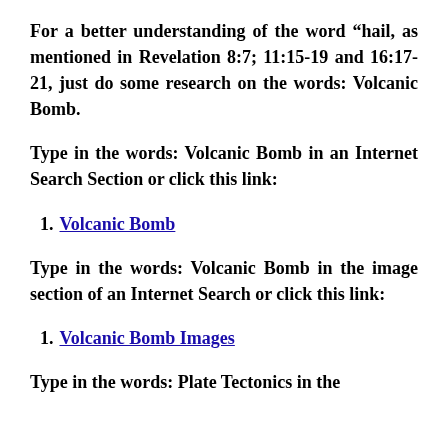For a better understanding of the word “hail, as mentioned in Revelation 8:7; 11:15-19 and 16:17-21, just do some research on the words: Volcanic Bomb.
Type in the words: Volcanic Bomb in an Internet Search Section or click this link:
1. Volcanic Bomb
Type in the words: Volcanic Bomb in the image section of an Internet Search or click this link:
1. Volcanic Bomb Images
Type in the words: Plate Tectonics in the